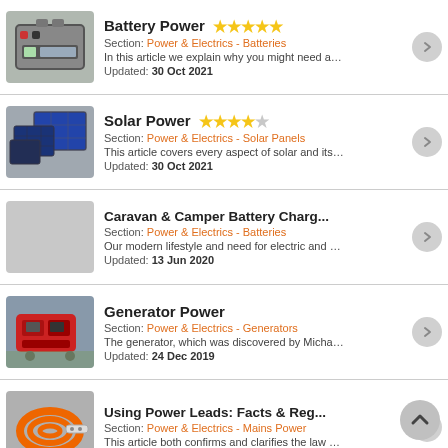Battery Power — 5 stars — Section: Power & Electrics - Batteries — In this article we explain why you might need an additi... — Updated: 30 Oct 2021
Solar Power — 4 stars — Section: Power & Electrics - Solar Panels — This article covers every aspect of solar and its design ... — Updated: 30 Oct 2021
Caravan & Camper Battery Charg... — Section: Power & Electrics - Batteries — Our modern lifestyle and need for electric and electro... — Updated: 13 Jun 2020
Generator Power — Section: Power & Electrics - Generators — The generator, which was discovered by Michael Fara... — Updated: 24 Dec 2019
Using Power Leads: Facts & Reg... — Section: Power & Electrics - Mains Power — This article both confirms and clarifies the law and co...